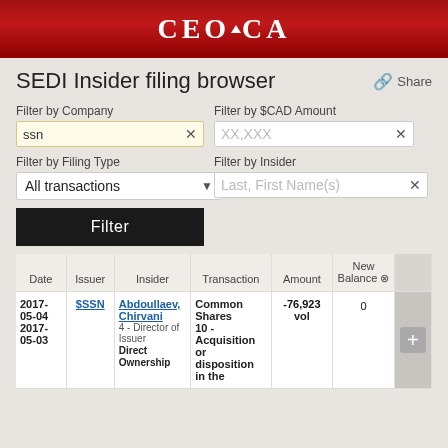CEO.CA
SEDI Insider filing browser
Share
Filter by Company
ssn
Filter by $CAD Amount
XX,XXX
Filter by Filing Type
All transactions
Filter by Insider
Last, First Name(s)
Filter
| Date | Issuer | Insider | Transaction | Amount | New Balance |  |
| --- | --- | --- | --- | --- | --- | --- |
| 2017-05-04
2017-05-03 | $SSN | Abdoullaev, Chirvani
4 - Director of Issuer
Direct Ownership | Common Shares
10 - Acquisition or disposition in the | -76,923 vol | 0 | + |